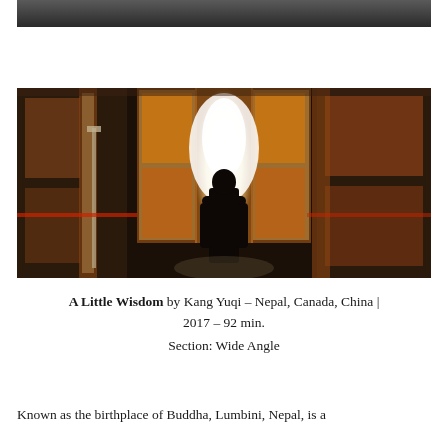[Figure (photo): Partial top edge of a photo showing dark tones, likely a person or face cropped at the top of the page]
[Figure (photo): A silhouetted figure standing in front of brightly lit ornate doors/panels in a temple or monastery, with colorful Buddhist murals visible on the walls]
A Little Wisdom by Kang Yuqi – Nepal, Canada, China | 2017 – 92 min.
Section: Wide Angle
Known as the birthplace of Buddha, Lumbini, Nepal, is a